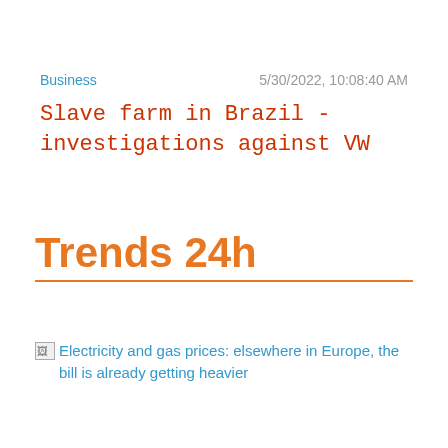Business
5/30/2022, 10:08:40 AM
Slave farm in Brazil - investigations against VW
[Figure (logo): Trends 24h logo with orange text and orange horizontal rule beneath]
Electricity and gas prices: elsewhere in Europe, the bill is already getting heavier